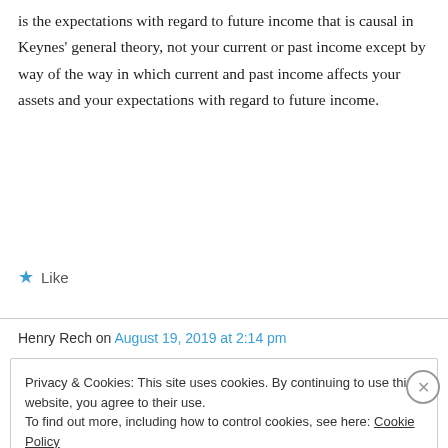is the expectations with regard to future income that is causal in Keynes' general theory, not your current or past income except by way of the way in which current and past income affects your assets and your expectations with regard to future income.
★ Like
Henry Rech on August 19, 2019 at 2:14 pm
Privacy & Cookies: This site uses cookies. By continuing to use this website, you agree to their use.
To find out more, including how to control cookies, see here: Cookie Policy
Close and accept